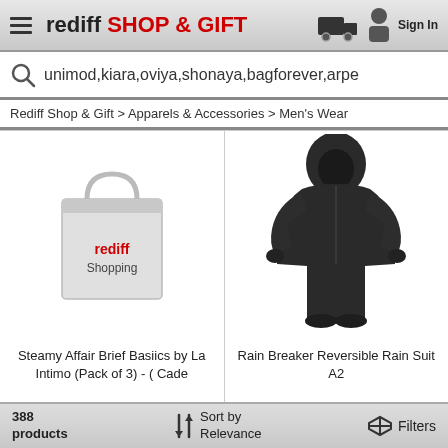rediff SHOP & GIFT | Sign In
unimod,kiara,oviya,shonaya,bagforever,arpe
Rediff Shop & Gift > Apparels & Accessories > Men's Wear
[Figure (photo): Rediff Shopping bag placeholder image]
Steamy Affair Brief Basiics by La Intimo (Pack of 3) - ( Cade
[Figure (photo): Rain Breaker Reversible Rain Suit - dark hooded full body rain suit on white background]
Rain Breaker Reversible Rain Suit A2
388 products | Sort by Relevance | Filters